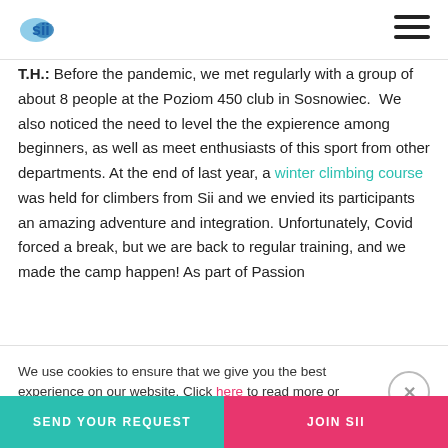Sii logo and hamburger menu
T.H.: Before the pandemic, we met regularly with a group of about 8 people at the Poziom 450 club in Sosnowiec. We also noticed the need to level the the expierence among beginners, as well as meet enthusiasts of this sport from other departments. At the end of last year, a winter climbing course was held for climbers from Sii and we envied its participants an amazing adventure and integration. Unfortunately, Covid forced a break, but we are back to regular training, and we made the camp happen! As part of Passion
We use cookies to ensure that we give you the best experience on our website. Click here to read more or accept and close.
SEND YOUR REQUEST | JOIN SII